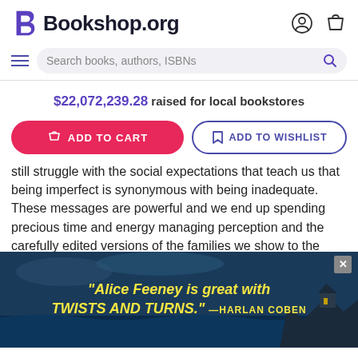[Figure (logo): Bookshop.org logo with stylized B and site name, plus user account and shopping bag icons]
[Figure (screenshot): Search bar with hamburger menu icon and magnifying glass icon reading 'Search books, authors, ISBNs']
$22,072,239.28 raised for local bookstores
[Figure (screenshot): Two buttons: 'ADD TO CART' (red/pink with shopping bag icon) and 'ADD TO WISHLIST' (outlined with bookmark icon)]
still struggle with the social expectations that teach us that being imperfect is synonymous with being inadequate. These messages are powerful and we end up spending precious time and energy managing perception and the carefully edited versions of the families we show to the world. On The Gifts of Imperfect Parenting, Dr. Brené lives o 2 years d ess, and sh g what
[Figure (photo): Advertisement banner with dark stormy coastal scene background, yellow italic text: '"Alice Feeney is great with TWISTS AND TURNS." —HARLAN COBEN', with X close button in top right]